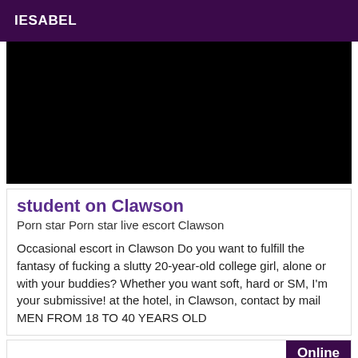IESABEL
[Figure (photo): Black rectangle representing a photo placeholder]
student on Clawson
Porn star Porn star live escort Clawson
Occasional escort in Clawson Do you want to fulfill the fantasy of fucking a slutty 20-year-old college girl, alone or with your buddies? Whether you want soft, hard or SM, I'm your submissive! at the hotel, in Clawson, contact by mail MEN FROM 18 TO 40 YEARS OLD
Online